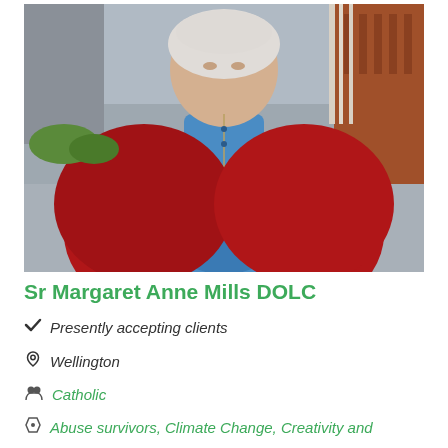[Figure (photo): Portrait photo of Sr Margaret Anne Mills DOLC, an elderly woman with white hair wearing a red cardigan over a blue shirt with a gold necklace, standing outdoors in front of a brick building]
Sr Margaret Anne Mills DOLC
✓ Presently accepting clients
Wellington
Catholic
Abuse survivors, Climate Change, Creativity and